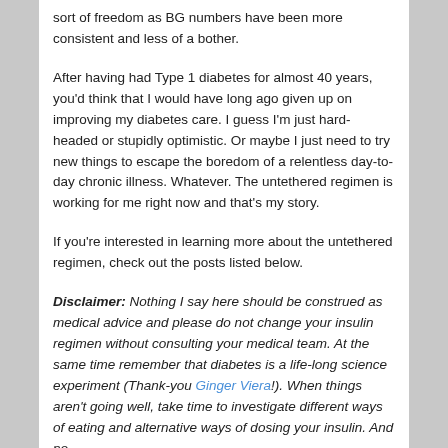sort of freedom as BG numbers have been more consistent and less of a bother.
After having had Type 1 diabetes for almost 40 years, you'd think that I would have long ago given up on improving my diabetes care. I guess I'm just hard-headed or stupidly optimistic. Or maybe I just need to try new things to escape the boredom of a relentless day-to-day chronic illness. Whatever. The untethered regimen is working for me right now and that's my story.
If you're interested in learning more about the untethered regimen, check out the posts listed below.
Disclaimer: Nothing I say here should be construed as medical advice and please do not change your insulin regimen without consulting your medical team. At the same time remember that diabetes is a life-long science experiment (Thank-you Ginger Viera!). When things aren't going well, take time to investigate different ways of eating and alternative ways of dosing your insulin. And no